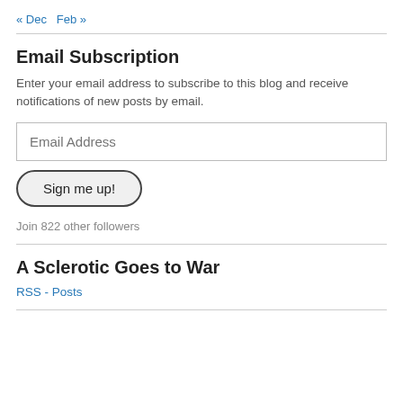« Dec   Feb »
Email Subscription
Enter your email address to subscribe to this blog and receive notifications of new posts by email.
Email Address
Sign me up!
Join 822 other followers
A Sclerotic Goes to War
RSS - Posts